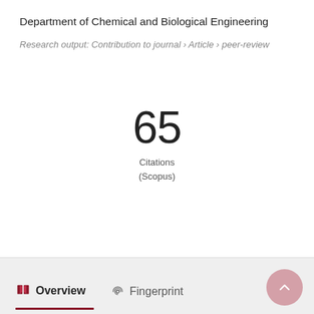Department of Chemical and Biological Engineering
Research output: Contribution to journal › Article › peer-review
65
Citations
(Scopus)
Overview
Fingerprint